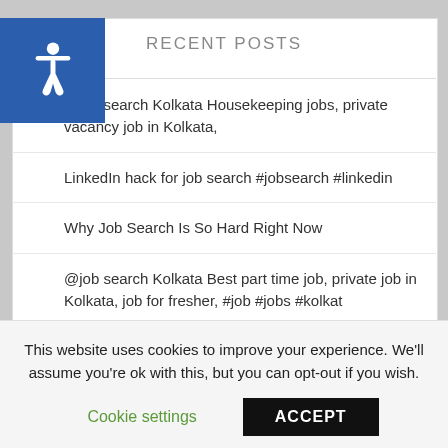RECENT POSTS
@job search Kolkata Housekeeping jobs, private vacancy job in Kolkata,
LinkedIn hack for job search #jobsearch #linkedin
Why Job Search Is So Hard Right Now
@job search Kolkata Best part time job, private job in Kolkata, job for fresher, #job #jobs #kolkat
15 EASIEST Ways To Make Money Online DAILY In 24 Hours (Work At Home Jobs)
This website uses cookies to improve your experience. We'll assume you're ok with this, but you can opt-out if you wish.
Cookie settings   ACCEPT